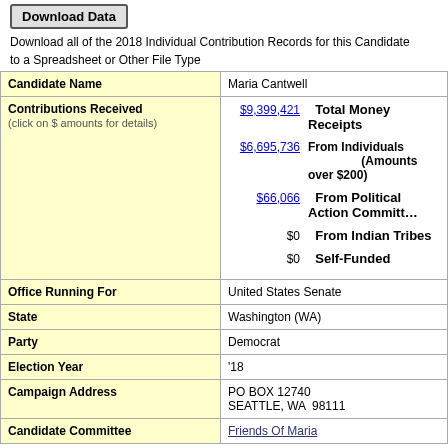Download Data (button)
Download all of the 2018 Individual Contribution Records for this Candidate to a Spreadsheet or Other File Type
| Field | Value |
| --- | --- |
| Candidate Name | Maria Cantwell |
| Contributions Received (click on $ amounts for details) | $9,399,421 Total Money Receipts
$6,695,736 From Individuals (Amounts over $200)
$66,066 From Political Action Committees
$0 From Indian Tribes
$0 Self-Funded |
| Office Running For | United States Senate |
| State | Washington (WA) |
| Party | Democrat |
| Election Year | '18 |
| Campaign Address | PO BOX 12740
SEATTLE, WA  98111 |
| Candidate Committee | Friends Of Maria |
Download Data (button)
Download all of the 2018 Individual Contribution Records for this Candidate to a Spreadsheet or Other File Type
Campaign Contribution Totals/Summary as of 12/31/2018